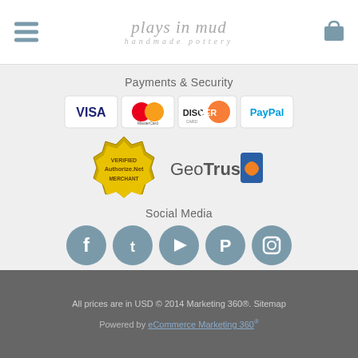plays in mud handmade pottery
Payments & Security
[Figure (logo): Payment method logos: VISA, MasterCard, Discover, PayPal]
[Figure (logo): Security logos: Authorize.Net Verified Merchant, GeoTrust]
Social Media
[Figure (logo): Social media icons: Facebook, Twitter, YouTube, Pinterest, Instagram]
[Figure (logo): Plays in Mud Pottery spiral logo with brand name and tagline: Fine Handcrafted Pottery]
All prices are in USD © 2014 Marketing 360®. Sitemap. Powered by eCommerce Marketing 360®